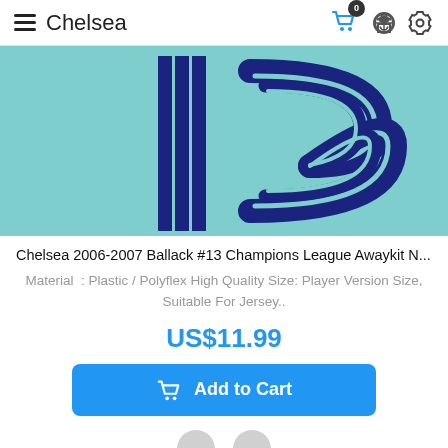Chelsea
[Figure (photo): Close-up of a Chelsea jersey showing the number 13 in dark blue on a teal/light blue background, in a retro font style.]
Chelsea 2006-2007 Ballack #13 Champions League Awaykit N...
Material : Plastic / Polyflex High Quality Size: Player Version Size, Suitable For Jersey..
US$11.99
Add to Cart